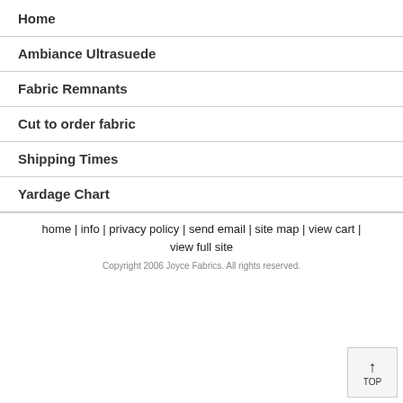Home
Ambiance Ultrasuede
Fabric Remnants
Cut to order fabric
Shipping Times
Yardage Chart
home | info | privacy policy | send email | site map | view cart | view full site
Copyright 2006 Joyce Fabrics. All rights reserved.